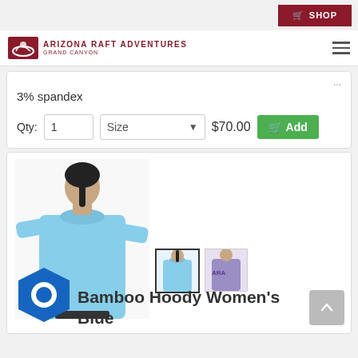SHOP
[Figure (logo): Arizona Raft Adventures Grand Canyon logo with raft icon]
3% spandex
Qty: 1   Size   $70.00   Add
[Figure (photo): Woman wearing light blue bamboo hoodie long sleeve top]
[Figure (photo): Thumbnail images of the hoodie in blue and purple]
Bamboo Hoody Women's Blue